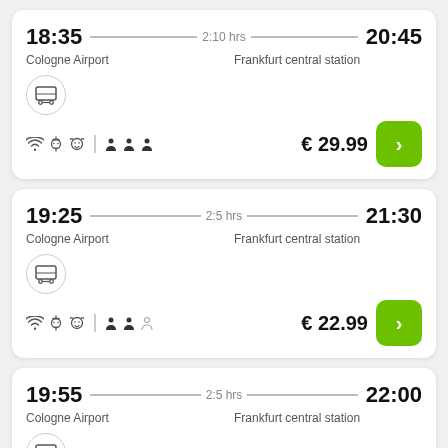18:35 — 2:10 hrs — 20:45
Cologne Airport | Frankfurt central station
€ 29.99
19:25 — 2:5 hrs — 21:30
Cologne Airport | Frankfurt central station
€ 22.99
19:55 — 2:5 hrs — 22:00
Cologne Airport | Frankfurt central station